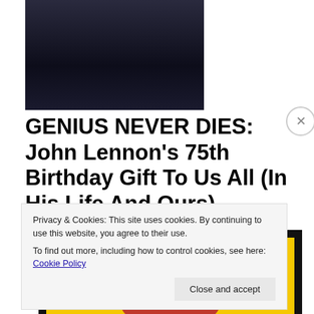[Figure (photo): Dark/black and white photo partially visible at top of page]
GENIUS NEVER DIES: John Lennon’s 75th Birthday Gift To Us All (In His Life And Ours)
[Figure (photo): Framed artwork with yellow background and red splash/hair silhouette]
Privacy & Cookies: This site uses cookies. By continuing to use this website, you agree to their use.
To find out more, including how to control cookies, see here: Cookie Policy
Close and accept